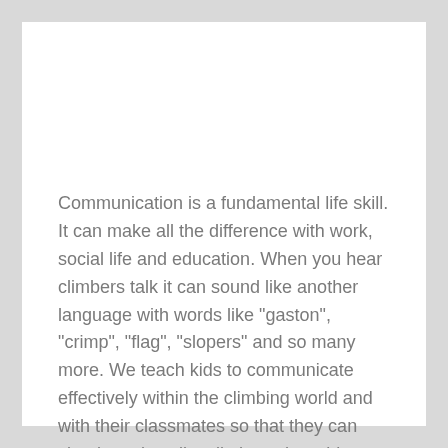Communication is a fundamental life skill. It can make all the difference with work, social life and education. When you hear climbers talk it can sound like another language with words like "gaston", "crimp", "flag", "slopers" and so many more. We teach kids to communicate effectively within the climbing world and with their classmates so that they can clearly and easily talk through problems.